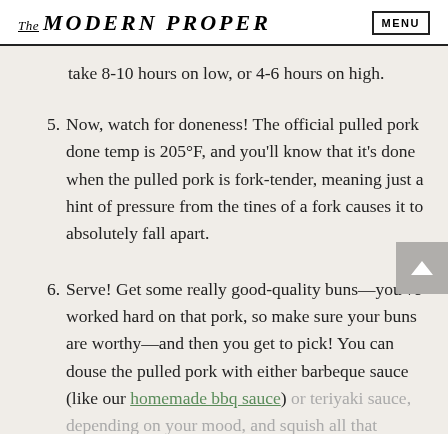The MODERN PROPER  MENU
take 8-10 hours on low, or 4-6 hours on high.
5. Now, watch for doneness! The official pulled pork done temp is 205°F, and you'll know that it's done when the pulled pork is fork-tender, meaning just a hint of pressure from the tines of a fork causes it to absolutely fall apart.
6. Serve! Get some really good-quality buns—you've worked hard on that pork, so make sure your buns are worthy—and then you get to pick! You can douse the pulled pork with either barbeque sauce (like our homemade bbq sauce) or teriyaki sauce, depending on your mood, and squish all that goodness between the buns. Just